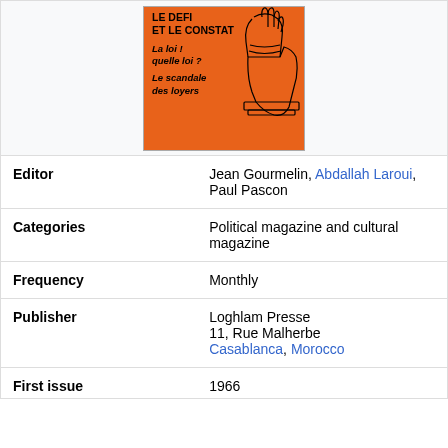[Figure (illustration): Orange magazine cover with text 'LE DEFI ET LE CONSTAT', 'La loi ! quelle loi ?', 'Le scandale des loyers' and a line drawing of a hand holding a gavel on a pedestal]
| Editor | Jean Gourmelin, Abdallah Laroui, Paul Pascon |
| Categories | Political magazine and cultural magazine |
| Frequency | Monthly |
| Publisher | Loghlam Presse
11, Rue Malherbe
Casablanca, Morocco |
| First issue | 1966 |